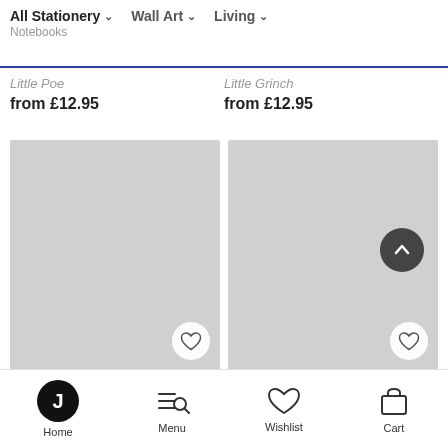All Stationery  Notebooks  Wall Art  Living
Little Poe
from £12.95
Little Grinch
from £12.95
[Figure (photo): Gray placeholder product image card with heart/wishlist button in bottom right corner]
[Figure (photo): Gray placeholder product image card with heart/wishlist button in bottom right corner and back-to-top arrow button]
Home  Menu  Wishlist  Cart